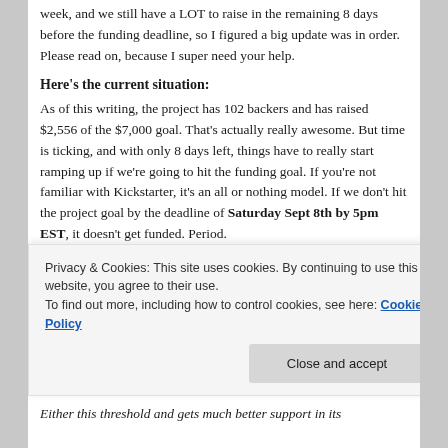week, and we still have a LOT to raise in the remaining 8 days before the funding deadline, so I figured a big update was in order.  Please read on, because I super need your help.
Here's the current situation:
As of this writing, the project has 102 backers and has raised $2,556 of the $7,000 goal. That's actually really awesome. But time is ticking, and with only 8 days left, things have to really start ramping up if we're going to hit the funding goal. If you're not familiar with Kickstarter, it's an all or nothing model. If we don't hit the project goal by the deadline of Saturday Sept 8th by 5pm EST, it doesn't get funded. Period.
Privacy & Cookies: This site uses cookies. By continuing to use this website, you agree to their use.
To find out more, including how to control cookies, see here: Cookie Policy
Either this threshold and gets much better support in its